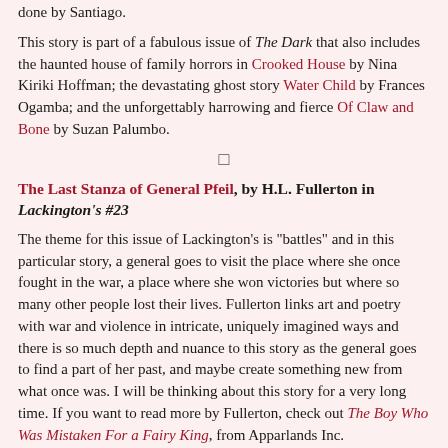done by Santiago.
This story is part of a fabulous issue of The Dark that also includes the haunted house of family horrors in Crooked House by Nina Kiriki Hoffman; the devastating ghost story Water Child by Frances Ogamba; and the unforgettably harrowing and fierce Of Claw and Bone by Suzan Palumbo.
□
The Last Stanza of General Pfeil, by H.L. Fullerton in Lackington's #23
The theme for this issue of Lackington's is "battles" and in this particular story, a general goes to visit the place where she once fought in the war, a place where she won victories but where so many other people lost their lives. Fullerton links art and poetry with war and violence in intricate, uniquely imagined ways and there is so much depth and nuance to this story as the general goes to find a part of her past, and maybe create something new from what once was. I will be thinking about this story for a very long time. If you want to read more by Fullerton, check out The Boy Who Was Mistaken For a Fairy King from Apparlands Inc.